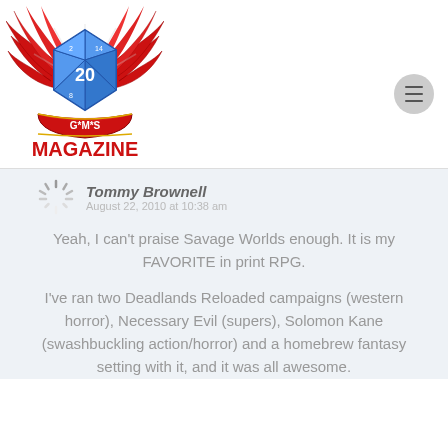[Figure (logo): GMS Magazine logo: a blue d20 die with red phoenix/eagle wings and a red ribbon banner reading G*M*S MAGAZINE]
Tommy Brownell
August 22, 2010 at 10:38 am
Yeah, I can't praise Savage Worlds enough. It is my FAVORITE in print RPG.
I've ran two Deadlands Reloaded campaigns (western horror), Necessary Evil (supers), Solomon Kane (swashbuckling action/horror) and a homebrew fantasy setting with it, and it was all awesome.